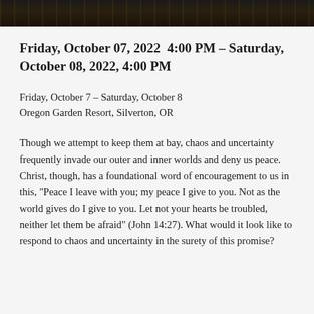[Figure (photo): Dark photo strip showing a nighttime or dimly lit outdoor scene, possibly a city or garden setting]
Friday, October 07, 2022  4:00 PM – Saturday, October 08, 2022, 4:00 PM
Friday, October 7 – Saturday, October 8
Oregon Garden Resort, Silverton, OR
Though we attempt to keep them at bay, chaos and uncertainty frequently invade our outer and inner worlds and deny us peace. Christ, though, has a foundational word of encouragement to us in this, "Peace I leave with you; my peace I give to you. Not as the world gives do I give to you. Let not your hearts be troubled, neither let them be afraid" (John 14:27). What would it look like to respond to chaos and uncertainty in the surety of this promise?